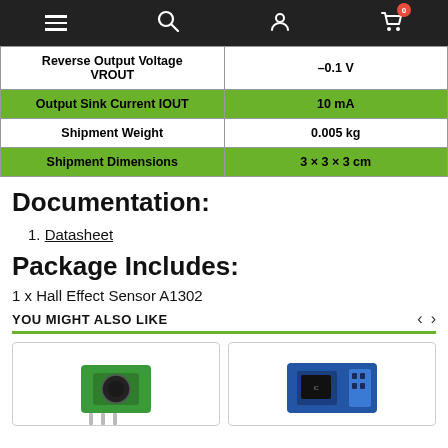Navigation bar with menu, search, user, and cart icons
| Parameter | Value |
| --- | --- |
| Reverse Output Voltage VROUT | –0.1 V |
| Output Sink Current IOUT | 10 mA |
| Shipment Weight | 0.005 kg |
| Shipment Dimensions | 3 × 3 × 3 cm |
Documentation:
1. Datasheet
Package Includes:
1 x Hall Effect Sensor A1302
YOU MIGHT ALSO LIKE
[Figure (photo): Two product photos side by side — left: green Hall Effect Sensor module, right: blue module on PCB]
< >